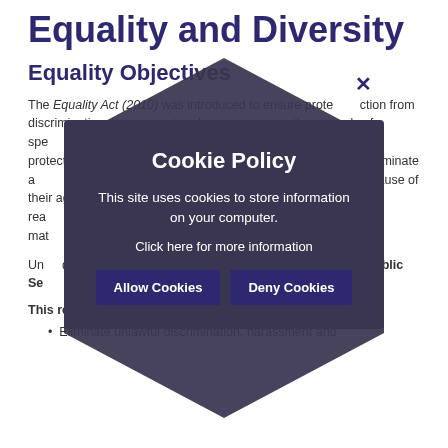Equality and Diversity
Equality Objectives
The Equality Act (2010) was introduced to ensure protection from discrimination, harassment and victimisation on the grounds of specified protected characteristics (known as protected characteristics). This means that it is unlawful to discriminate against or treat someone less favourably because of their age, disability, race, religion or belief, gender reassignment, sexual orientation, pregnancy or maternity, marriage or civil partnership or sex, one.
Under the Act, as a public body we must comply with the Public Sector Equality Duty.
This requires us to:
Eliminate unlawful discrimination, harassment and
[Figure (screenshot): Cookie Policy modal overlay on a hexagon background. Shows title 'Cookie Policy', description text 'This site uses cookies to store information on your computer.', link 'Click here for more information', and two buttons: 'Allow Cookies' and 'Deny Cookies'. A close 'x' button appears at the top right of the hexagon.]